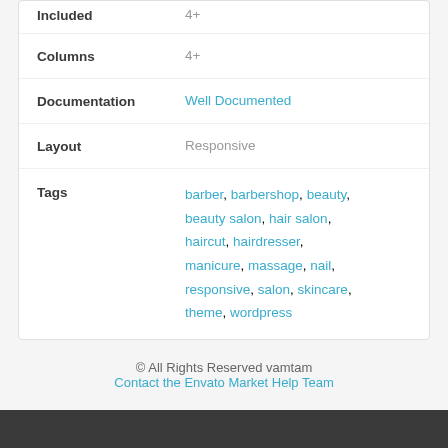| Property | Value |
| --- | --- |
| Included | PHP Files, CSS Files, JS Files |
| Columns | 4+ |
| Documentation | Well Documented |
| Layout | Responsive |
| Tags | barber, barbershop, beauty, beauty salon, hair salon, haircut, hairdresser, manicure, massage, nail, responsive, salon, skincare, theme, wordpress |
© All Rights Reserved vamtam
Contact the Envato Market Help Team